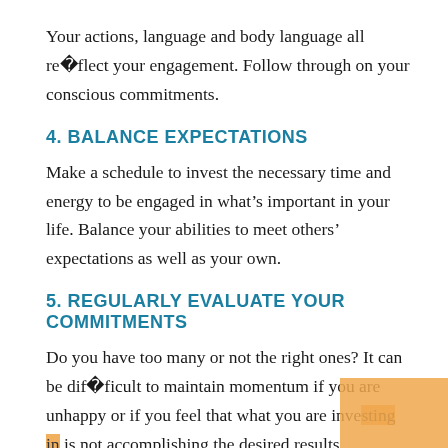Your actions, language and body language all re￿lect your engagement. Follow through on your conscious commitments.
4. BALANCE EXPECTATIONS
Make a schedule to invest the necessary time and energy to be engaged in what’s important in your life. Balance your abilities to meet others’ expectations as well as your own.
5. REGULARLY EVALUATE YOUR COMMITMENTS
Do you have too many or not the right ones? It can be dif�icult to maintain momentum if you are unhappy or if you feel that what you are investing in is not accomplishing the desired results.